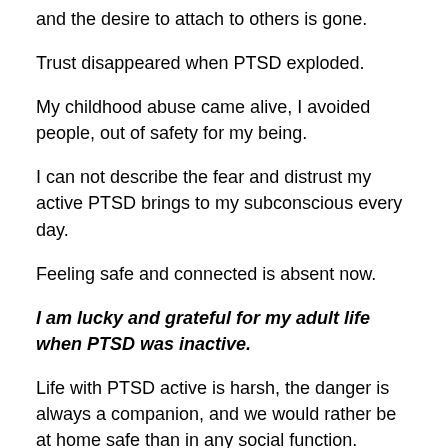and the desire to attach to others is gone.
Trust disappeared when PTSD exploded.
My childhood abuse came alive, I avoided people, out of safety for my being.
I can not describe the fear and distrust my active PTSD brings to my subconscious every day.
Feeling safe and connected is absent now.
I am lucky and grateful for my adult life when PTSD was inactive.
Life with PTSD active is harsh, the danger is always a companion, and we would rather be at home safe than in any social function.